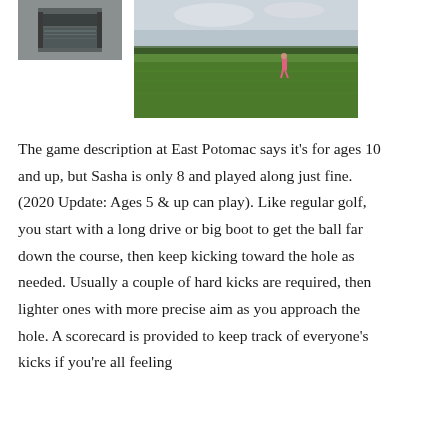[Figure (photo): Small square photo of a memorial or architectural feature with reflective water/stone surface]
[Figure (photo): Photo of a large green field/golf course with a child in pink visible in the distance, trees on the horizon, overcast sky]
The game description at East Potomac says it's for ages 10 and up, but Sasha is only 8 and played along just fine. (2020 Update: Ages 5 & up can play). Like regular golf, you start with a long drive or big boot to get the ball far down the course, then keep kicking toward the hole as needed. Usually a couple of hard kicks are required, then lighter ones with more precise aim as you approach the hole. A scorecard is provided to keep track of everyone's kicks if you're all feeling